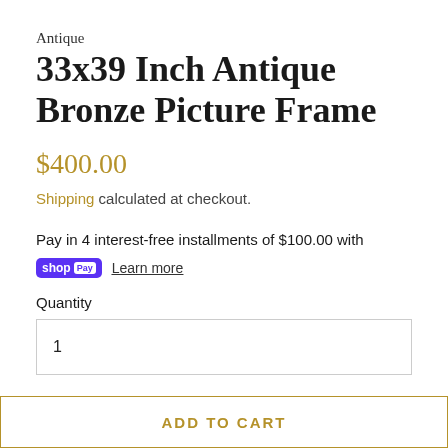Antique
33x39 Inch Antique Bronze Picture Frame
$400.00
Shipping calculated at checkout.
Pay in 4 interest-free installments of $100.00 with
shop Pay Learn more
Quantity
1
ADD TO CART